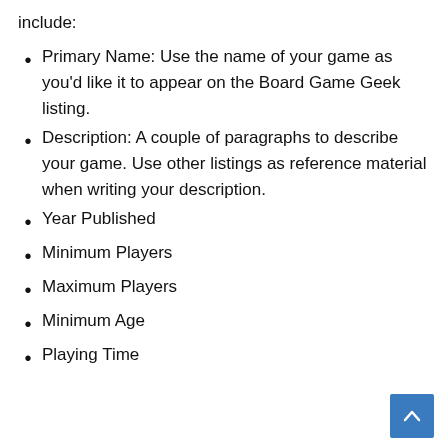include:
Primary Name: Use the name of your game as you'd like it to appear on the Board Game Geek listing.
Description: A couple of paragraphs to describe your game. Use other listings as reference material when writing your description.
Year Published
Minimum Players
Maximum Players
Minimum Age
Playing Time